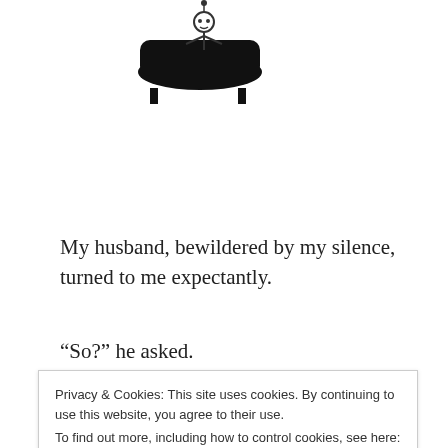[Figure (illustration): A cartoon illustration of a person sitting in a bathtub on the left side, and a handwritten-style number or text on the right side, partially visible at the top of the page.]
My husband, bewildered by my silence, turned to me expectantly.
“So?” he asked.
Privacy & Cookies: This site uses cookies. By continuing to use this website, you agree to their use.
To find out more, including how to control cookies, see here: Cookie Policy
“Not a runner.”